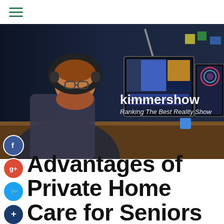kimmershow — Ranking The Best Reality Show
[Figure (photo): Man with headphones and beard sitting at desk with multiple monitors showing video editing software in a dark studio environment. Text overlay reads 'kimmershow' and 'Ranking The Best Reality Show'.]
Advantages of Private Home Care for Seniors